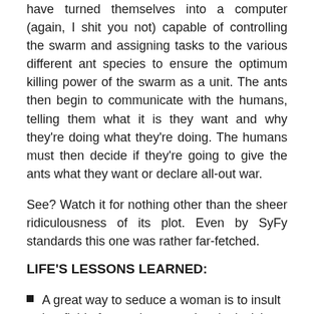have turned themselves into a computer (again, I shit you not) capable of controlling the swarm and assigning tasks to the various different ant species to ensure the optimum killing power of the swarm as a unit. The ants then begin to communicate with the humans, telling them what it is they want and why they're doing what they're doing. The humans must then decide if they're going to give the ants what they want or declare all-out war.
See? Watch it for nothing other than the sheer ridiculousness of its plot. Even by SyFy standards this one was rather far-fetched.
LIFE'S LESSONS LEARNED:
A great way to seduce a woman is to insult her field of expertise on national television.
There's an entire industry dedicated to making